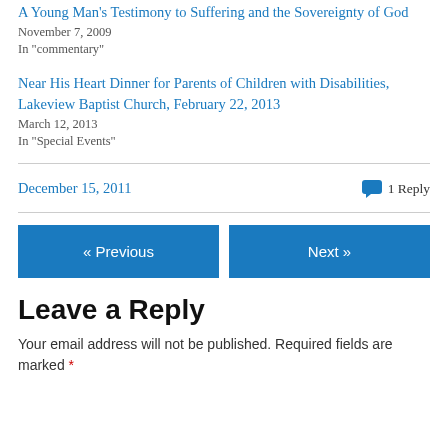A Young Man's Testimony to Suffering and the Sovereignty of God
November 7, 2009
In "commentary"
Near His Heart Dinner for Parents of Children with Disabilities, Lakeview Baptist Church, February 22, 2013
March 12, 2013
In "Special Events"
December 15, 2011
1 Reply
« Previous
Next »
Leave a Reply
Your email address will not be published. Required fields are marked *